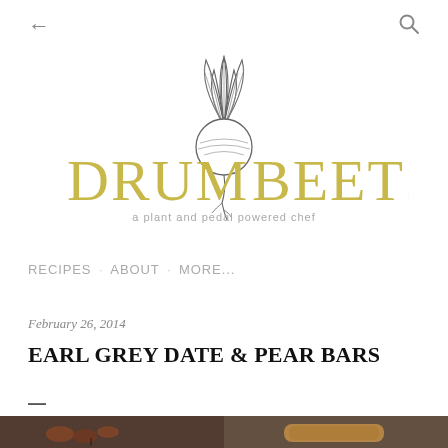← [back] [search icon]
[Figure (logo): Drumbeats logo with beet illustration and text 'DRUM BEETS a plant and pedal powered chef']
RECIPES · ABOUT · MORE...
February 26, 2014
EARL GREY DATE & PEAR BARS
—
[Figure (photo): Two photos side by side: left shows dates and tea on a dark surface, right shows a baked bar on a dark surface]